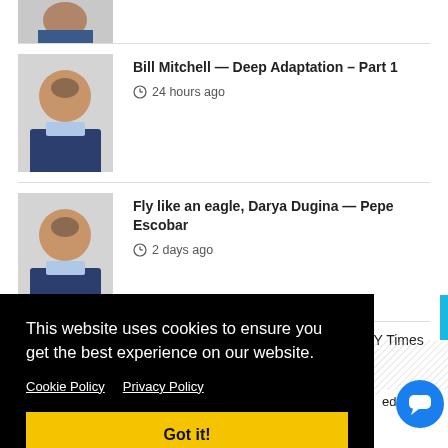[Figure (photo): Partial photo of a man at top of page]
Bill Mitchell — Deep Adaptation – Part 1
24 hours ago
Fly like an eagle, Darya Dugina — Pepe Escobar
2 days ago
[Figure (photo): Partial thumbnail at bottom of page]
Housing starts, industrial production, NY Times
This website uses cookies to ensure you get the best experience on our website.
Cookie Policy   Privacy Policy
Got it!